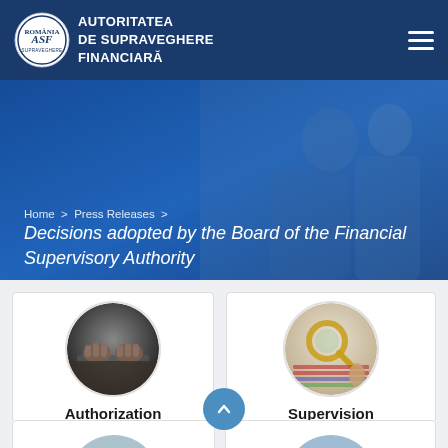AUTORITATEA DE SUPRAVEGHERE FINANCIARĂ
Home > Press Releases > Decisions adopted by the Board of the Financial Supervisory Authority
Decisions adopted by the Board of the Financial Supervisory Authority
[Figure (screenshot): Authorization card with circular image of hands on desk, label: Authorization]
[Figure (screenshot): Supervision card with circular image of magnifying glass over documents, label: Supervision]